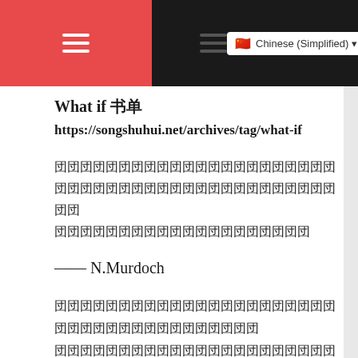What if 书单 https://songshuhui.net/archives/tag/what-if
（Chinese characters — body paragraph 1）
—— N.Murdoch
（Chinese characters — body paragraph 2）
书单